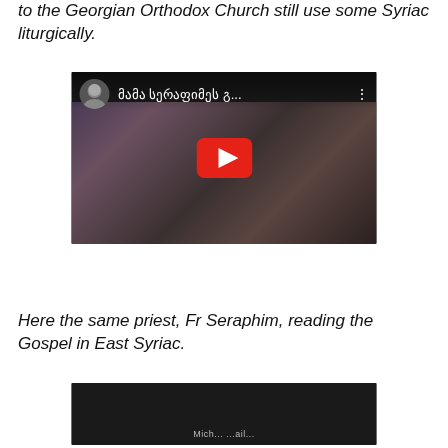to the Georgian Orthodox Church still use some Syriac liturgically.
[Figure (screenshot): YouTube video thumbnail showing a group of people including a bearded priest in black, with Georgian script title 'მამა სერაფიმეს გ...' and a red YouTube play button overlay]
Here the same priest, Fr Seraphim, reading the Gospel in East Syriac.
[Figure (screenshot): YouTube video thumbnail, dark/black frame with partial subtitle text visible at the bottom]